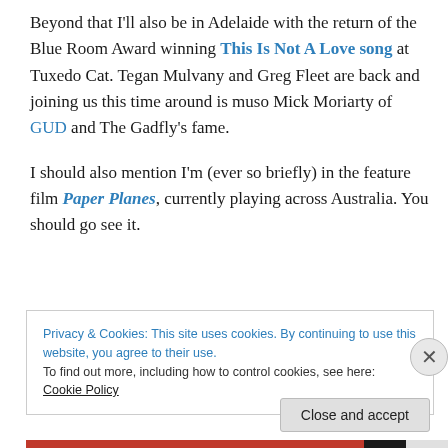Beyond that I'll also be in Adelaide with the return of the Blue Room Award winning This Is Not A Love song at Tuxedo Cat. Tegan Mulvany and Greg Fleet are back and joining us this time around is muso Mick Moriarty of GUD and The Gadfly's fame.
I should also mention I'm (ever so briefly) in the feature film Paper Planes, currently playing across Australia. You should go see it.
Privacy & Cookies: This site uses cookies. By continuing to use this website, you agree to their use. To find out more, including how to control cookies, see here: Cookie Policy
Close and accept